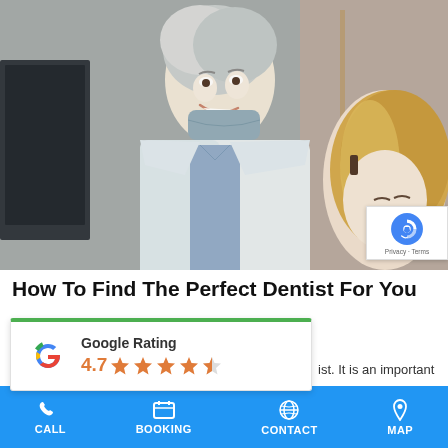[Figure (photo): Photo of a smiling female dentist in white coat with surgical mask pulled down, talking with a female patient with blonde hair in a dental office setting]
How To Find The Perfect Dentist For You
[Figure (other): Google Rating widget showing 4.7 star rating with Google G logo and green top border]
ist. It is an important
CALL   BOOKING   CONTACT   MAP